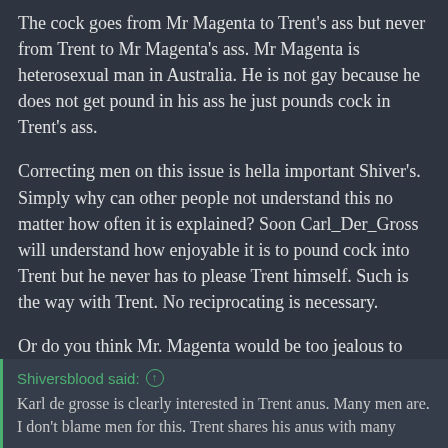The cock goes from Mr Magenta to Trent's ass but never from Trent to Mr Magenta's ass. Mr Magenta is heterosexual man in Australia. He is not gay because he does not get pound in his ass he just pounds cock in Trent's ass.
Correcting men on this issue is hella important Shiver's. Simply why can other people not understand this no matter how often it is explained? Soon Carl_Der_Gross will understand how enjoyable it is to pound cock into Trent but he never has to please Trent himself. Such is the way with Trent. No reciprocating is necessary.
Or do you think Mr. Magenta would be too jealous to share Trent anus with Carl_Der_Gross?
Shiversblood said: ↑
Karl de grosse is clearly interested in Trent anus. Many men are. I don't blame men for this. Trent shares his anus with many